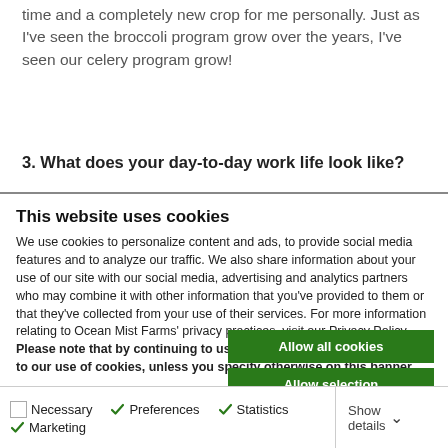time and a completely new crop for me personally. Just as I've seen the broccoli program grow over the years, I've seen our celery program grow!
3. What does your day-to-day work life look like?
This website uses cookies
We use cookies to personalize content and ads, to provide social media features and to analyze our traffic. We also share information about your use of our site with our social media, advertising and analytics partners who may combine it with other information that you've provided to them or that they've collected from your use of their services. For more information relating to Ocean Mist Farms' privacy practices, visit our Privacy Policy. Please note that by continuing to use our website you are consenting to our use of cookies, unless you specify otherwise on this banner.
Allow all cookies
Allow selection
Use necessary cookies only
Necessary | Preferences | Statistics | Marketing | Show details